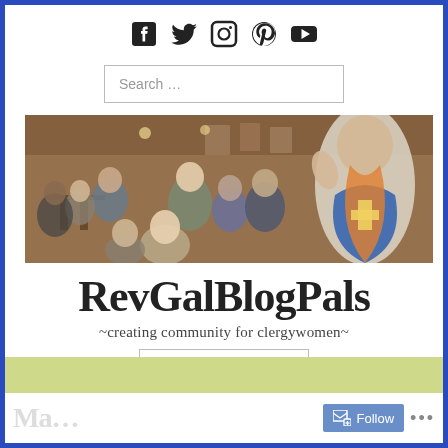[Figure (infographic): Social media icons: Facebook, Twitter, Instagram, Pinterest, YouTube]
[Figure (screenshot): Search bar with placeholder text 'Search ...']
[Figure (photo): Photo of women at a church/community gathering in a restaurant-like setting with brick walls and art on the walls. A clergy woman in colorful vestments is visible on the right.]
RevGalBlogPals
~creating community for clergywomen~
[Figure (screenshot): Menu button with hamburger icon and text MENU]
Follow
...